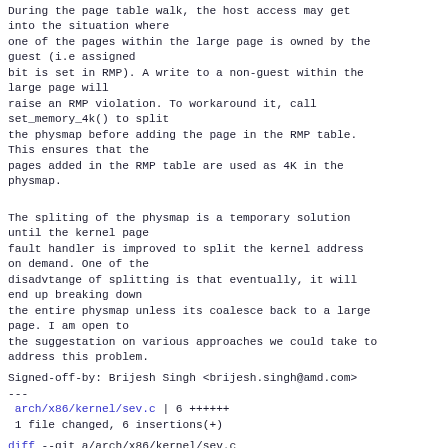During the page table walk, the host access may get into the situation where one of the pages within the large page is owned by the guest (i.e assigned bit is set in RMP). A write to a non-guest within the large page will raise an RMP violation. To workaround it, call set_memory_4k() to split the physmap before adding the page in the RMP table. This ensures that the pages added in the RMP table are used as 4K in the physmap.
The spliting of the physmap is a temporary solution until the kernel page fault handler is improved to split the kernel address on demand. One of the disadvtange of splitting is that eventually, it will end up breaking down the entire physmap unless its coalesce back to a large page. I am open to the suggestation on various approaches we could take to address this problem.
Signed-off-by: Brijesh Singh <brijesh.singh@amd.com>
---
 arch/x86/kernel/sev.c | 6 ++++++
 1 file changed, 6 insertions(+)
diff --git a/arch/x86/kernel/sev.c